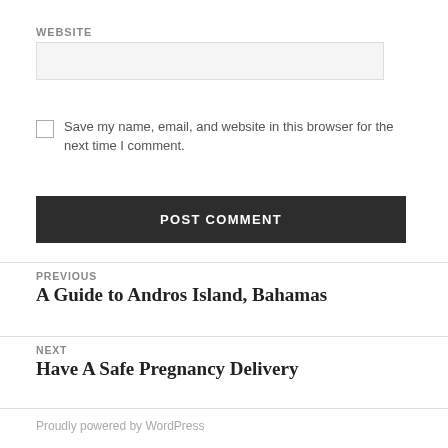WEBSITE
Save my name, email, and website in this browser for the next time I comment.
POST COMMENT
PREVIOUS
A Guide to Andros Island, Bahamas
NEXT
Have A Safe Pregnancy Delivery
Proudly powered by WordPress